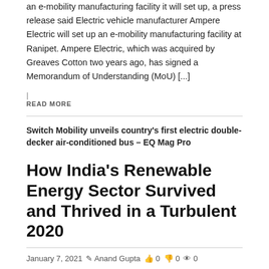an e-mobility manufacturing facility it will set up, a press release said Electric vehicle manufacturer Ampere Electric will set up an e-mobility manufacturing facility at Ranipet. Ampere Electric, which was acquired by Greaves Cotton two years ago, has signed a Memorandum of Understanding (MoU) [...]
| READ MORE
Switch Mobility unveils country's first electric double-decker air-conditioned bus – EQ Mag Pro
How India's Renewable Energy Sector Survived and Thrived in a Turbulent 2020
January 7, 2021  Anand Gupta  0  0  0
[Figure (photo): Photo of a worker in a hard hat against a blue sky, with a RENEWABLE ENERGY category badge in yellow/orange]